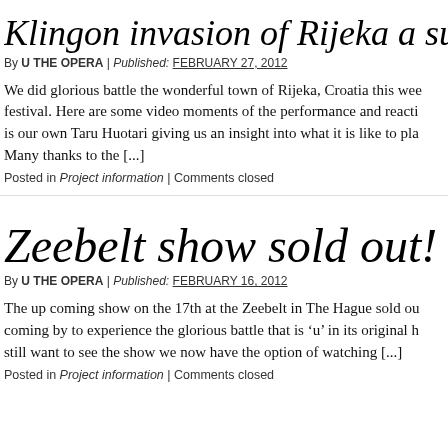Klingon invasion of Rijeka a su…
By U THE OPERA | Published: FEBRUARY 27, 2012
We did glorious battle the wonderful town of Rijeka, Croatia this wee festival. Here are some video moments of the performance and reacti is our own Taru Huotari giving us an insight into what it is like to pla Many thanks to the [...]
Posted in Project information | Comments closed
Zeebelt show sold out!
By U THE OPERA | Published: FEBRUARY 16, 2012
The up coming show on the 17th at the Zeebelt in The Hague sold ou coming by to experience the glorious battle that is 'u' in its original h still want to see the show we now have the option of watching [...]
Posted in Project information | Comments closed
•
•
Re
•
•
•
•
Li
•
•
•